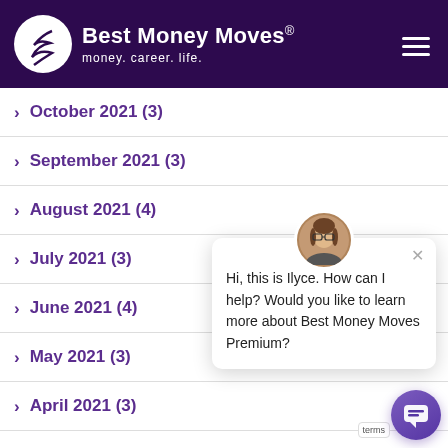Best Money Moves® — money. career. life.
October 2021 (3)
September 2021 (3)
August 2021 (4)
July 2021 (3)
June 2021 (4)
May 2021 (3)
April 2021 (3)
March 2021 (3)
[Figure (screenshot): Chat popup with avatar photo of Ilyce. Message reads: Hi, this is Ilyce. How can I help? Would you like to learn more about Best Money Moves Premium?]